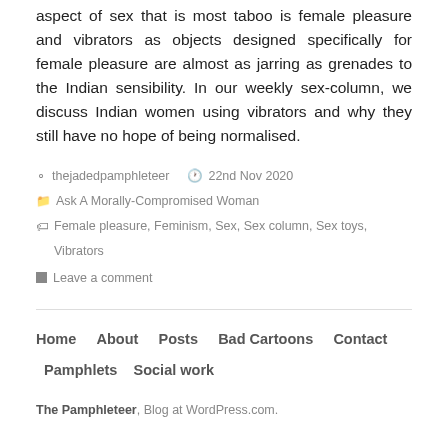aspect of sex that is most taboo is female pleasure and vibrators as objects designed specifically for female pleasure are almost as jarring as grenades to the Indian sensibility. In our weekly sex-column, we discuss Indian women using vibrators and why they still have no hope of being normalised.
thejadedpamphleteer  22nd Nov 2020
Ask A Morally-Compromised Woman
Female pleasure, Feminism, Sex, Sex column, Sex toys, Vibrators
Leave a comment
Home   About   Posts   Bad Cartoons   Contact   Pamphlets   Social work
The Pamphleteer, Blog at WordPress.com.